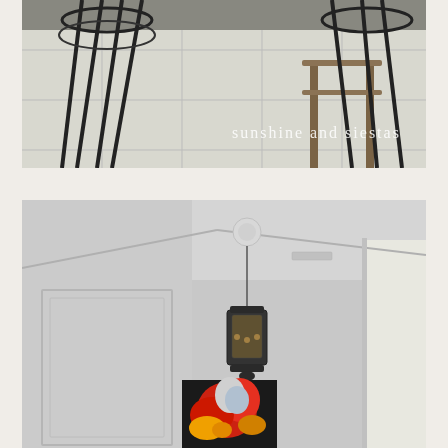[Figure (photo): A close-up photo of iron chair legs and a wooden stool on white tile floor, with text 'sunshine and siestas' overlaid in white handwritten font in the lower right corner.]
[Figure (photo): An interior hallway photo showing white walls with panel molding, crown molding, and a black ornate hanging lantern pendant light suspended from the ceiling. A colorful painting with red, blue, and yellow hues hangs at the far end of the hallway.]